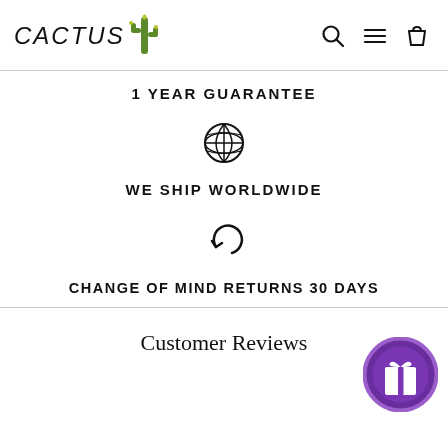CACTUS
1 YEAR GUARANTEE
[Figure (illustration): Globe/world icon]
WE SHIP WORLDWIDE
[Figure (illustration): Circular arrow/return icon]
CHANGE OF MIND RETURNS 30 DAYS
Customer Reviews
[Figure (illustration): Purple gift box loyalty/rewards button]